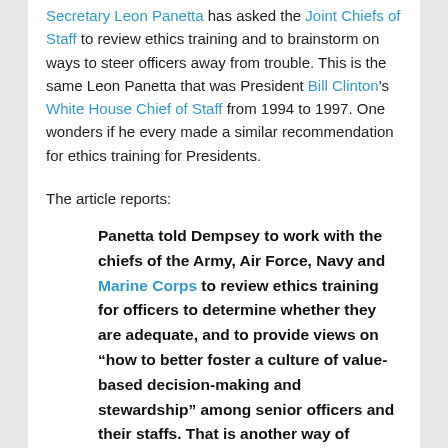Secretary Leon Panetta has asked the Joint Chiefs of Staff to review ethics training and to brainstorm on ways to steer officers away from trouble. This is the same Leon Panetta that was President Bill Clinton's White House Chief of Staff from 1994 to 1997. One wonders if he every made a similar recommendation for ethics training for Presidents.
The article reports:
Panetta told Dempsey to work with the chiefs of the Army, Air Force, Navy and Marine Corps to review ethics training for officers to determine whether they are adequate, and to provide views on “how to better foster a culture of value-based decision-making and stewardship” among senior officers and their staffs. That is another way of saying Panetta wants a game plan for ending the string of bad behavior.
He said the initial results of the chiefs’ review,